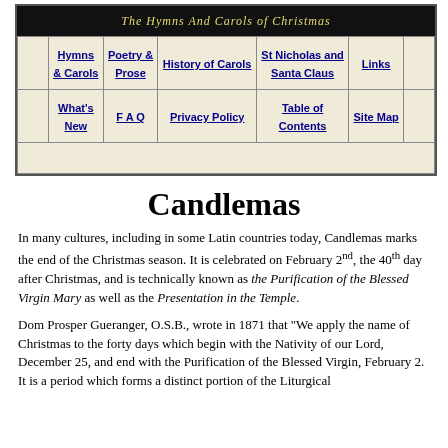[Figure (screenshot): Navigation table for 'The Hymns And Carols of Christmas' website with links: Hymns & Carols, Poetry & Prose, History of Carols, St Nicholas and Santa Claus, Links, What's New, FAQ, Privacy Policy, Table of Contents, Site Map]
Candlemas
In many cultures, including in some Latin countries today, Candlemas marks the end of the Christmas season. It is celebrated on February 2nd, the 40th day after Christmas, and is technically known as the Purification of the Blessed Virgin Mary as well as the Presentation in the Temple.
Dom Prosper Gueranger, O.S.B., wrote in 1871 that "We apply the name of Christmas to the forty days which begin with the Nativity of our Lord, December 25, and end with the Purification of the Blessed Virgin, February 2. It is a period which forms a distinct portion of the Liturgical